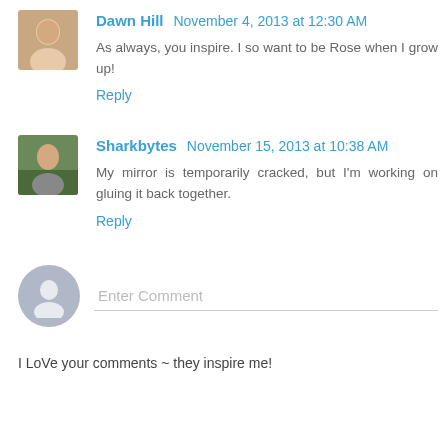Dawn Hill  November 4, 2013 at 12:30 AM
As always, you inspire. I so want to be Rose when I grow up!
Reply
Sharkbytes  November 15, 2013 at 10:38 AM
My mirror is temporarily cracked, but I'm working on gluing it back together.
Reply
Enter Comment
I LoVe your comments ~ they inspire me!